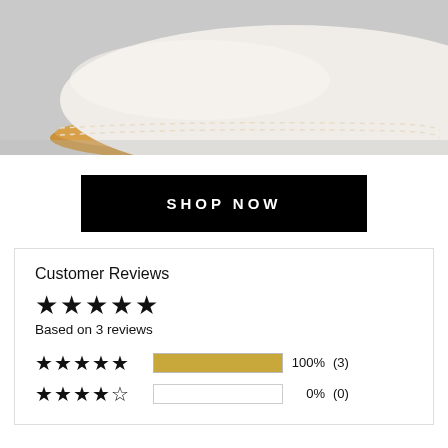[Figure (photo): Close-up photo of a white leather shoe with tan/beige stitched sole against a light grey background]
SHOP NOW
Customer Reviews
★★★★★ Based on 3 reviews
★★★★★  100% (3)
★★★★☆  0%  (0)